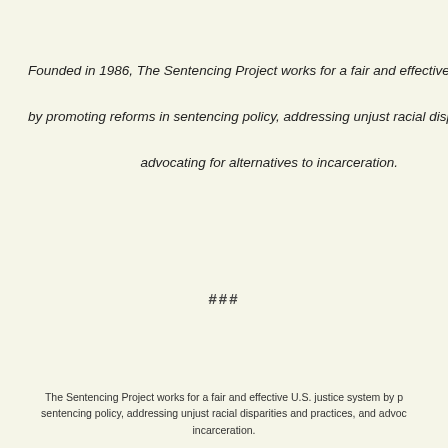Founded in 1986, The Sentencing Project works for a fair and effective U.S. justice system by promoting reforms in sentencing policy, addressing unjust racial disparities and practices, and advocating for alternatives to incarceration.
###
The Sentencing Project works for a fair and effective U.S. justice system by promoting reforms in sentencing policy, addressing unjust racial disparities and practices, and advocating for alternatives to incarceration.